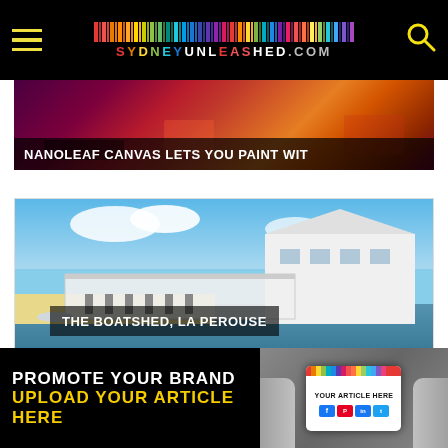SYDNEYUNLEASHED.COM
[Figure (photo): Nanoleaf Canvas article thumbnail showing colorful LED lights scene with dark purple and orange tones]
NANOLEAF CANVAS LETS YOU PAINT WIT
[Figure (photo): The Boatshed La Perouse restaurant with beachside outdoor seating and white building]
THE BOATSHED, LA PEROUSE
[Figure (photo): Close-up of laptop keyboard keys including esc, ?, @, #, 2, 3 keys]
PROMOTE YOUR BRAND
UPLOAD YOUR ARTICLE HERE | YOUR ARTICLE HERE